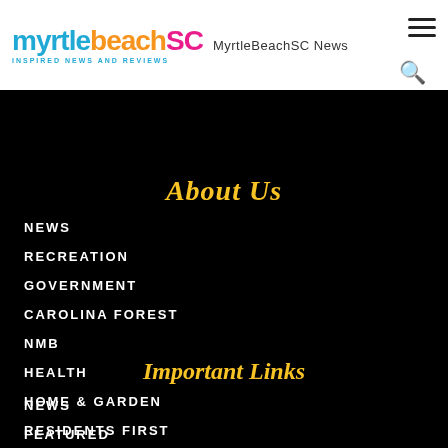MyrtleBeachSC News
About Us
NEWS
RECREATION
GOVERNMENT
CAROLINA FOREST
NMB
HEALTH
HOME & GARDEN
RESIDENTS FIRST
Important Links
NEWS
FEATURED
ABOUT US